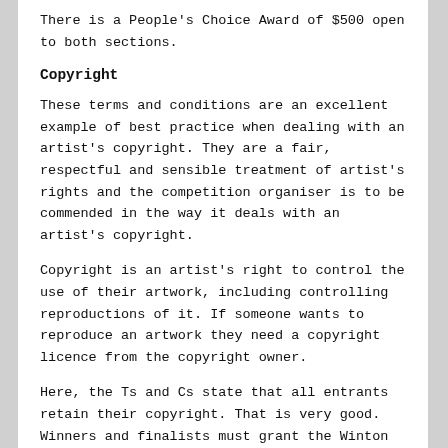There is a People's Choice Award of $500 open to both sections.
Copyright
These terms and conditions are an excellent example of best practice when dealing with an artist's copyright. They are a fair, respectful and sensible treatment of artist's rights and the competition organiser is to be commended in the way it deals with an artist's copyright.
Copyright is an artist's right to control the use of their artwork, including controlling reproductions of it. If someone wants to reproduce an artwork they need a copyright licence from the copyright owner.
Here, the Ts and Cs state that all entrants retain their copyright. That is very good. Winners and finalists must grant the Winton